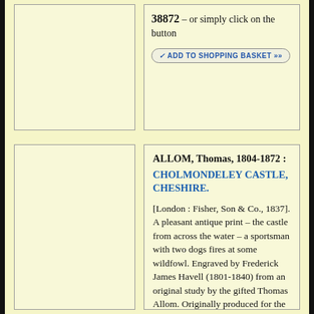38872 – or simply click on the button
✓ ADD TO SHOPPING BASKET »»
[Figure (illustration): Empty image placeholder box, top left]
[Figure (illustration): Empty image placeholder box, bottom left]
ALLOM, Thomas, 1804-1872 : CHOLMONDELEY CASTLE, CHESHIRE.
[London : Fisher, Son & Co., 1837]. A pleasant antique print – the castle from across the water – a sportsman with two dogs fires at some wildfowl. Engraved by Frederick James Havell (1801-1840) from an original study by the gifted Thomas Allom. Originally produced for the part-work series of